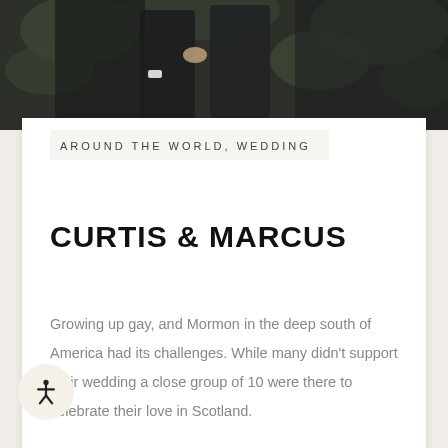[Figure (photo): Wedding photo showing two men in dark suits embracing outdoors among green ferns and foliage]
AROUND THE WORLD, WEDDING
CURTIS & MARCUS
Growing up gay, and Mormon in the deep south of America had its challenges. While many didn't support their wedding a close group of 10 were there to celebrate their love in Scotland.
[Figure (illustration): Accessibility icon button — circular beige button with a stick figure person icon]